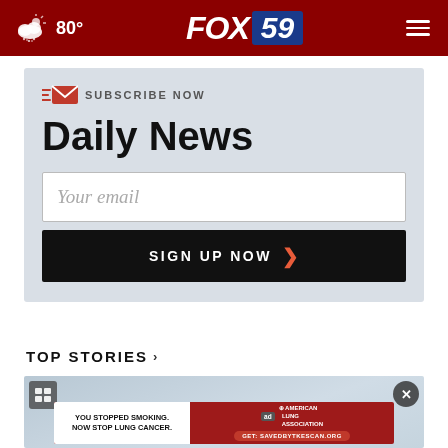FOX 59 — 80° — navigation header
SUBSCRIBE NOW
Daily News
Your email
SIGN UP NOW
TOP STORIES ›
[Figure (screenshot): News story image area with gallery icon and close button, with an advertisement banner for American Lung Association reading 'YOU STOPPED SMOKING. NOW STOP LUNG CANCER.' with CTA 'Get: SAVEDBYTKESCAN.ORG']